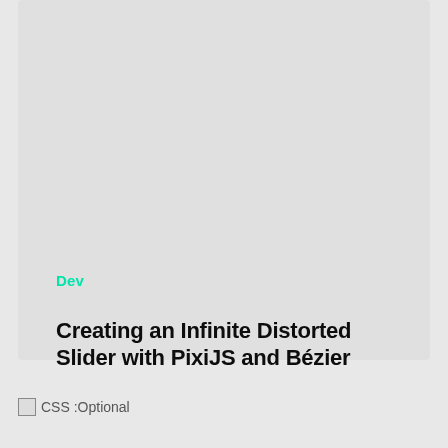Dev
Creating an Infinite Distorted Slider with PixiJS and Bézier Curves
[Figure (screenshot): Broken image placeholder with alt text 'CSS :Optional']